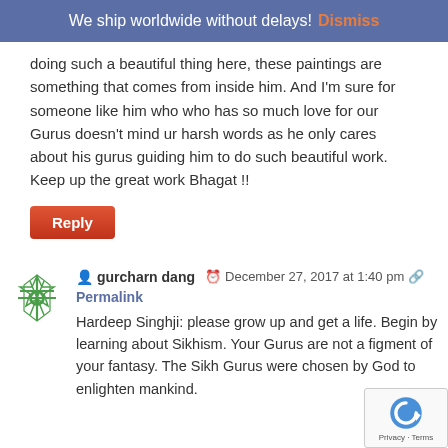We ship worldwide without delays! Dismiss
doing such a beautiful thing here, these paintings are something that comes from inside him. And I'm sure for someone like him who who has so much love for our Gurus doesn't mind ur harsh words as he only cares about his gurus guiding him to do such beautiful work. Keep up the great work Bhagat !!
Reply
gurcharn dang  December 27, 2017 at 1:40 pm  Permalink
Hardeep Singhji: please grow up and get a life. Begin by learning about Sikhism. Your Gurus are not a figment of your fantasy. The Sikh Gurus were chosen by God to enlighten mankind.